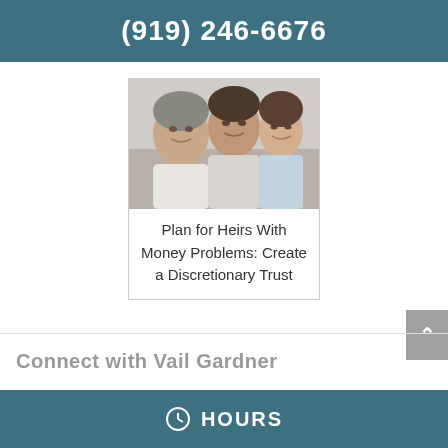(919) 246-6676
[Figure (photo): Three women of different generations smiling together for a selfie — grandmother, mother, and young granddaughter]
Plan for Heirs With Money Problems: Create a Discretionary Trust
Connect with Vail Gardner
HOURS